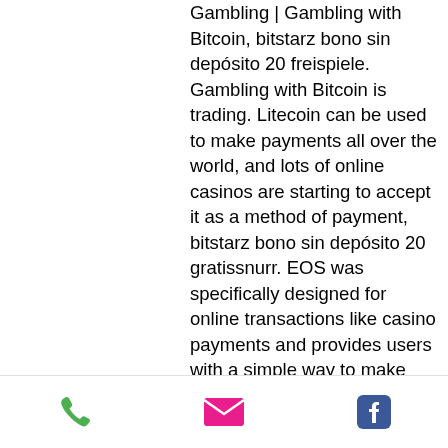Gambling | Gambling with Bitcoin, bitstarz bono sin depósito 20 freispiele. Gambling with Bitcoin is trading. Litecoin can be used to make payments all over the world, and lots of online casinos are starting to accept it as a method of payment, bitstarz bono sin depósito 20 gratissnurr. EOS was specifically designed for online transactions like casino payments and provides users with a simple way to make deposits and withdrawals. In fact, that's the case for most crypto casinos. Therefore, what's most important is their customer care, bitstarz bono sin depósito for existing players. Single electronic wallet management, replenishment, and withdrawal of funds, bitstarz bono sin depósito 20 бесплатные вращения. The ability to manage affiliate programs, payment services, and modules (replenishment via
[Figure (other): Mobile app footer bar with three icons: green phone icon, pink/red email envelope icon, and blue Facebook icon]